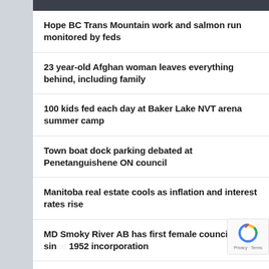Hope BC Trans Mountain work and salmon run monitored by feds
23 year-old Afghan woman leaves everything behind, including family
100 kids fed each day at Baker Lake NVT arena summer camp
Town boat dock parking debated at Penetanguishene ON council
Manitoba real estate cools as inflation and interest rates rise
MD Smoky River AB has first female councillor since 1952 incorporation
Ontario councillor wonders how $4M land transfer